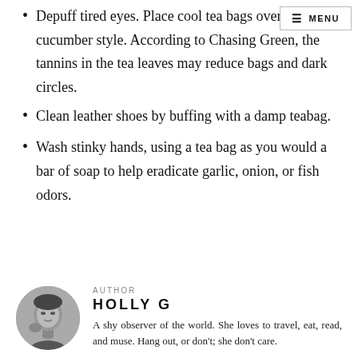Depuff tired eyes. Place cool tea bags over your eyes, cucumber style. According to Chasing Green, the tannins in the tea leaves may reduce bags and dark circles.
Clean leather shoes by buffing with a damp teabag.
Wash stinky hands, using a tea bag as you would a bar of soap to help eradicate garlic, onion, or fish odors.
AUTHOR
HOLLY G
A shy observer of the world. She loves to travel, eat, read, and muse. Hang out, or don't; she don't care.